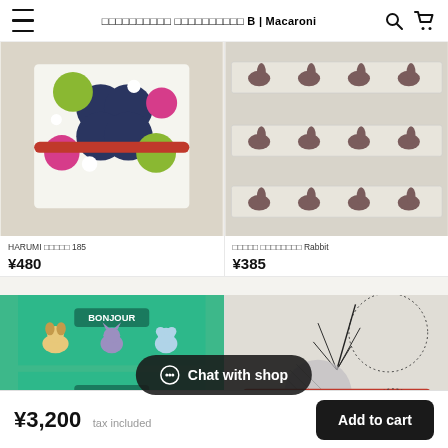□□□□□□□□□□ □□□□□□□□□□ B | Macaroni
[Figure (photo): HARUMI product – folded fabric/notebook with green and navy floral/dot pattern, secured with red elastic band, viewed from above]
HARUMI □□□□□ 185
¥480
[Figure (photo): Rabbit patterned washi tape or fabric strips showing repeating brown rabbit silhouettes on light grey/cream background, two strips shown]
□□□□□ □□□□□□□□ Rabbit
¥385
[Figure (photo): BONJOUR themed product with green background, illustrated toy animals (dog, cat, bear, elephant) in vintage style, two strips shown]
[Figure (photo): Grey/white circular dotted fabric pattern with black tree/branch line designs, with red elastic band]
Chat with shop
¥3,200  tax included   Add to cart